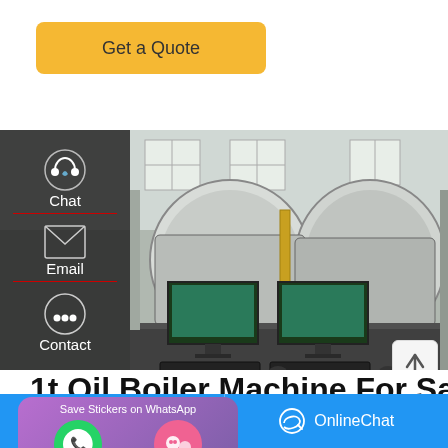Get a Quote
[Figure (photo): Industrial boiler factory interior showing two large cylindrical boilers and two computer monitors on a control desk in the foreground]
Chat
Email
Contact
1t Oil Boiler Machine For Sale
[Figure (screenshot): WhatsApp sticker save popup with purple gradient background showing WhatsApp and WeChat icons]
as oil steam boiler 50 to 1000 KG
Leave Message
OnlineChat